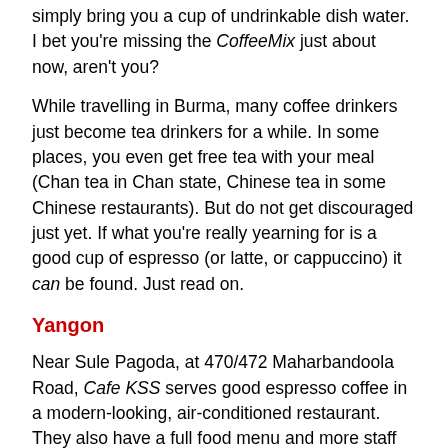simply bring you a cup of undrinkable dish water. I bet you're missing the CoffeeMix just about now, aren't you?
While travelling in Burma, many coffee drinkers just become tea drinkers for a while. In some places, you even get free tea with your meal (Chan tea in Chan state, Chinese tea in some Chinese restaurants). But do not get discouraged just yet. If what you're really yearning for is a good cup of espresso (or latte, or cappuccino) it can be found. Just read on.
Yangon
Near Sule Pagoda, at 470/472 Maharbandoola Road, Cafe KSS serves good espresso coffee in a modern-looking, air-conditioned restaurant. They also have a full food menu and more staff than they need. The restaurant is a good break from the noise, dirt, heat, and traffic of the street. It seems to cater to tourists and well-off Burmese.
Yangon is a big city, and I am pretty sure there must be other places serving decent espresso. I just didn't have the time to